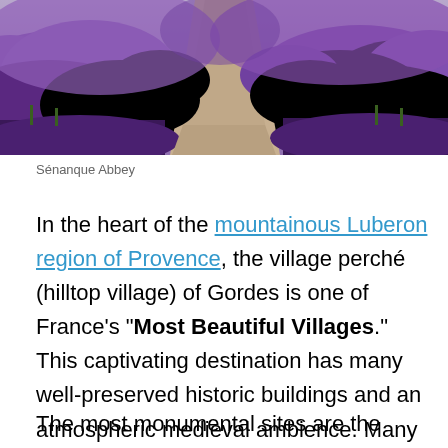[Figure (photo): Lavender field with a sandy path running through the middle, lush purple lavender bushes on both sides, Sénanque Abbey area.]
Sénanque Abbey
In the heart of the mountainous Luberon region of Provence, the village perché (hilltop village) of Gordes is one of France's "Most Beautiful Villages." This captivating destination has many well-preserved historic buildings and an atmospheric medieval ambience. Many famous artists, including Marc Chagall and Victor Vasarely, have found inspiration here.
The most monumental sites are the castle and church that tower over the village and impress